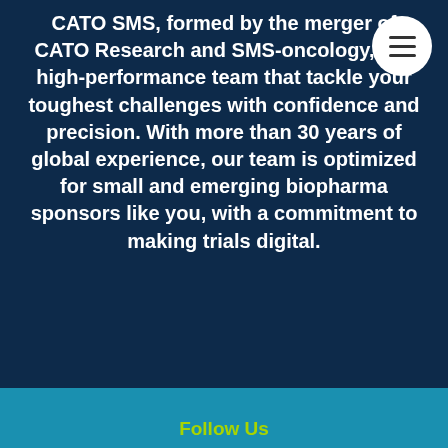CATO SMS, formed by the merger of CATO Research and SMS-oncology, is a high-performance team that tackle your toughest challenges with confidence and precision. With more than 30 years of global experience, our team is optimized for small and emerging biopharma sponsors like you, with a commitment to making trials digital.
This website uses cookies to enhance your browsing experience and improve functionality. By continuing to browse this website, you are accepting our use of cookies in accordance with our privacy policy. Learn more
I accept.
Useful Links
About
Services
Therapeutic Expertise
Resources
News & Events
Contact Us
Follow Us